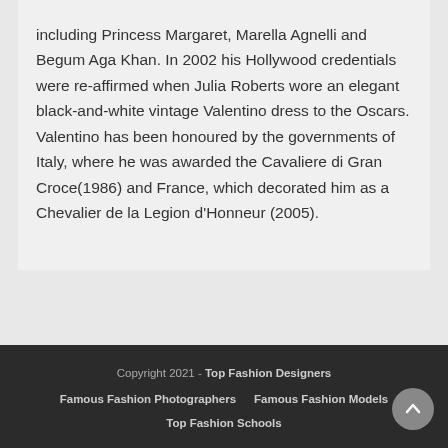including Princess Margaret, Marella Agnelli and Begum Aga Khan. In 2002 his Hollywood credentials were re-affirmed when Julia Roberts wore an elegant black-and-white vintage Valentino dress to the Oscars. Valentino has been honoured by the governments of Italy, where he was awarded the Cavaliere di Gran Croce(1986) and France, which decorated him as a Chevalier de la Legion d'Honneur (2005).
Copyright 2021 - Top Fashion Designers | Famous Fashion Photographers | Famous Fashion Models | Top Fashion Schools